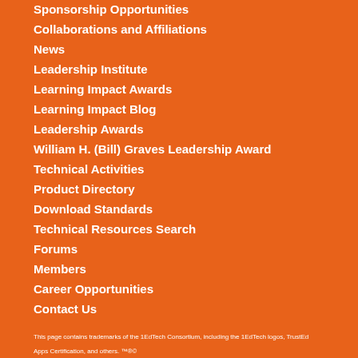Sponsorship Opportunities
Collaborations and Affiliations
News
Leadership Institute
Learning Impact Awards
Learning Impact Blog
Leadership Awards
William H. (Bill) Graves Leadership Award
Technical Activities
Product Directory
Download Standards
Technical Resources Search
Forums
Members
Career Opportunities
Contact Us
This page contains trademarks of the 1EdTech Consortium, including the 1EdTech logos, TrustEd Apps Certification, and others.